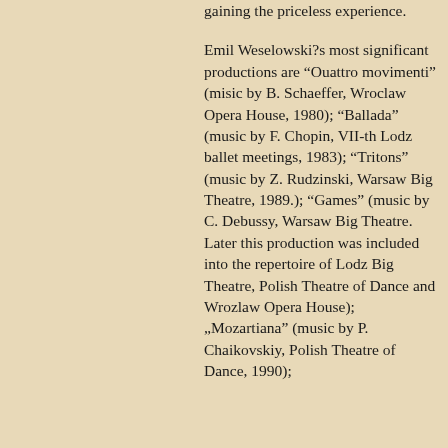gaining the priceless experience.
Emil Weselowski?s most significant productions are "Ouattro movimenti" (misic by B. Schaeffer, Wroclaw Opera House, 1980); "Ballada" (music by F. Chopin, VII-th Lodz ballet meetings, 1983); "Tritons" (music by Z. Rudzinski, Warsaw Big Theatre, 1989.); "Games" (music by C. Debussy, Warsaw Big Theatre. Later this production was included into the repertoire of Lodz Big Theatre, Polish Theatre of Dance and Wrozlaw Opera House); „Mozartiana" (music by P. Chaikovskiy, Polish Theatre of Dance, 1990);